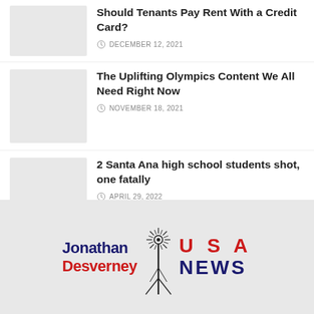Should Tenants Pay Rent With a Credit Card?
DECEMBER 12, 2021
The Uplifting Olympics Content We All Need Right Now
NOVEMBER 18, 2021
2 Santa Ana high school students shot, one fatally
APRIL 29, 2022
[Figure (logo): Jonathan Desverney USA NEWS logo with antenna/tower graphic in center. 'Jonathan' and 'Desverney' in navy/red bold text on left, 'USA' in red and 'NEWS' in navy bold text on right.]